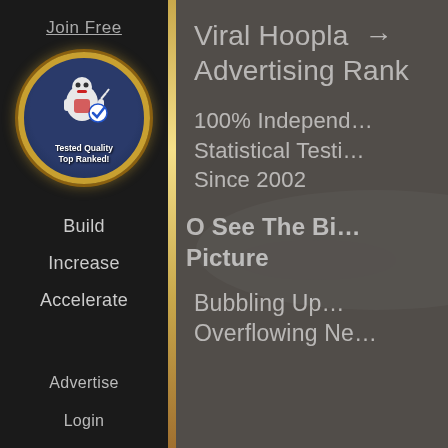Join Free
[Figure (logo): Robot mascot badge with gold border, text 'Tested Quality Top Ranked!']
Build
Increase
Accelerate
Advertise
Login
Viral Hoopla → Advertising Rank
100% Independent Statistical Testing Since 2002
O See The Big Picture
Bubbling Up Overflowing New